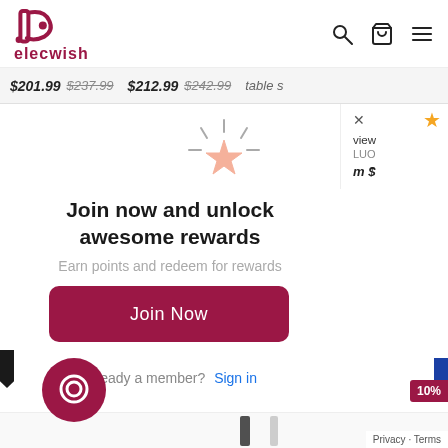elecwish
$201.99  $237.99    $212.99  $242.99    table s
[Figure (illustration): Sparkle star icon with rays radiating outward, salmon/coral color star outline]
Join now and unlock awesome rewards
Earn points and redeem for rewards
Join Now
Already a member? Sign in
[Figure (logo): Elecwish logo - circular chat bubble icon in dark red]